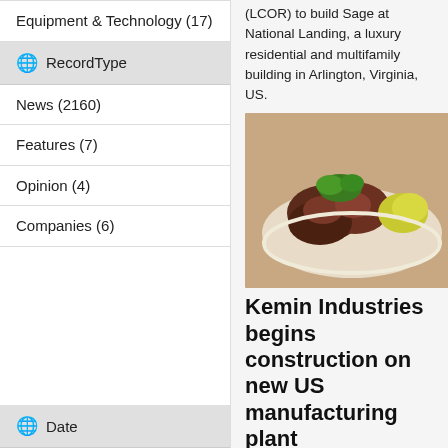Equipment & Technology (17)
RecordType
News (2160)
Features (7)
Opinion (4)
Companies (6)
Date
(LCOR) to build Sage at National Landing, a luxury residential and multifamily building in Arlington, Virginia, US.
[Figure (photo): Photo of grilled meat dish with green garnish on a white plate]
Kemin Industries begins construction on new US manufacturing plant
Ingredient manufacturer Kemin Industries has broken ground on a new $40m manufacturing facility in Verona, Missouri, US.
[Figure (photo): Photo of people in hard hats at a groundbreaking event]